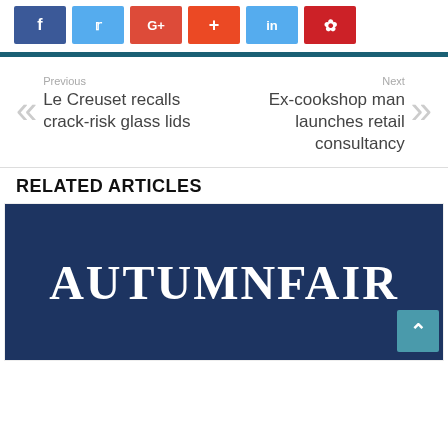[Figure (other): Social sharing buttons: Facebook (blue), Twitter (light blue), Google+ (red), StumbleUpon (orange-red), LinkedIn (light blue), Pinterest (red)]
Previous
Le Creuset recalls crack-risk glass lids
Next
Ex-cookshop man launches retail consultancy
RELATED ARTICLES
[Figure (logo): Autumn Fair logo — white serif text 'AUTUMNFAIR' on dark navy blue background]